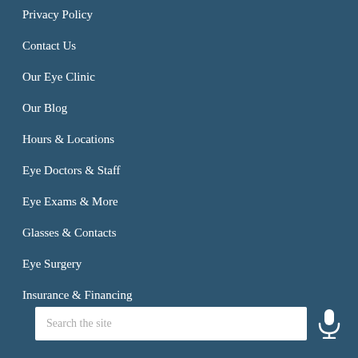Privacy Policy
Contact Us
Our Eye Clinic
Our Blog
Hours & Locations
Eye Doctors & Staff
Eye Exams & More
Glasses & Contacts
Eye Surgery
Insurance & Financing
Search the site